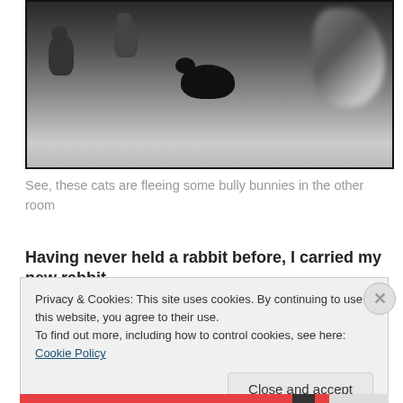[Figure (photo): Grayscale/black-and-white photo of three or more cats in an indoor room with tile floor. A black cat is running in the center, a small cat is at the left edge, another cat is partially visible near the center-left, and a blurry cat is motion-blurred at the right edge, apparently fleeing.]
See, these cats are fleeing some bully bunnies in the other room
Having never held a rabbit before, I carried my new rabbit-
Privacy & Cookies: This site uses cookies. By continuing to use this website, you agree to their use.
To find out more, including how to control cookies, see here: Cookie Policy
Close and accept